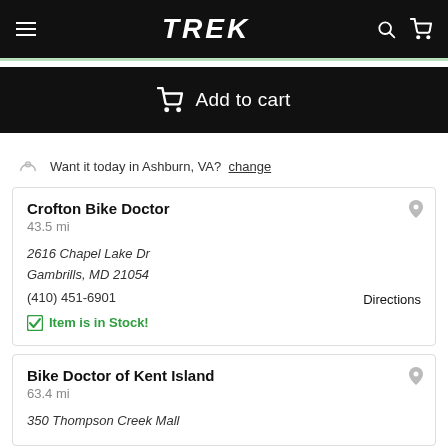TREK navigation bar with hamburger menu, search, and cart icons
Add to cart
Want it today in Ashburn, VA? change
Crofton Bike Doctor
43.5 mi
2616 Chapel Lake Dr
Gambrills, MD 21054
(410) 451-6901
Directions
Item is in Stock!
Bike Doctor of Kent Island
63.4 mi
350 Thompson Creek Mall